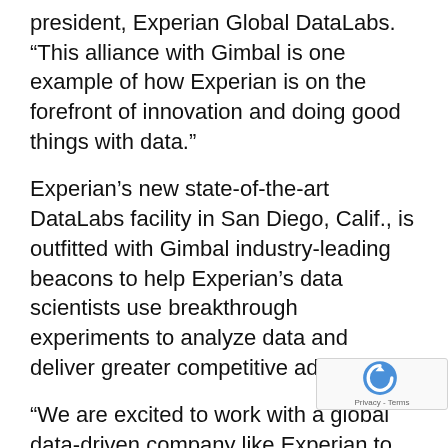president, Experian Global DataLabs. “This alliance with Gimbal is one example of how Experian is on the forefront of innovation and doing good things with data.”
Experian’s new state-of-the-art DataLabs facility in San Diego, Calif., is outfitted with Gimbal industry-leading beacons to help Experian’s data scientists use breakthrough experiments to analyze data and deliver greater competitive advantages.
“We are excited to work with a global data-driven company like Experian to utilize the rich location data our solution creates,” said Brian Dunphy, senior vice president of business development at Gimbal. “Further, it is great to be part of a collaboration effort that could enable Experian’s clients to offer mobile instant credit and prequalification to their customers once they’ve opted in, further helping to make their customers’ journey much simpler by leveraging their mobile devices and smart applications enabled by the Gimbal platform.”